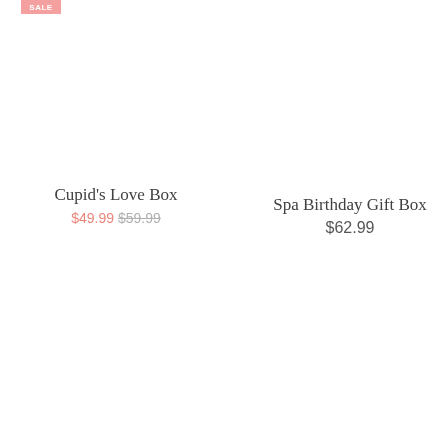Sale
Cupid's Love Box
$49.99 $59.99
Spa Birthday Gift Box
$62.99